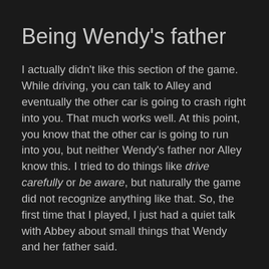Being Wendy's father
I actually didn't like this section of the game. While driving, you can talk to Alley and eventually the other car is going to crash right into you. That much works well. At this point, you know that the other car is going to run into you, but neither Wendy's father nor Alley know this. I tried to do things like drive carefully or be aware, but naturally the game did not recognize anything like that. So, the first time that I played, I just had a quiet talk with Abbey about small things that Wendy and her father said.
This worked very well for me the first time that I played it. The conversation felt right, it was what talking with a sleepy fifth-grader felt like. It wa…